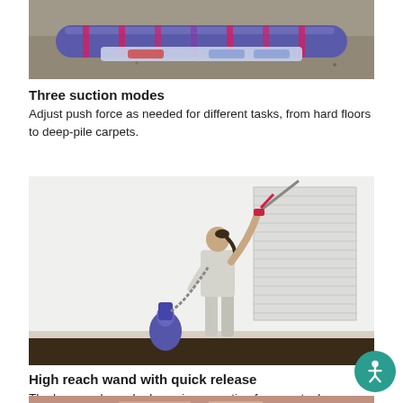[Figure (photo): Close-up photo of a Dyson vacuum cleaner roller/brush bar on a floor surface]
Three suction modes
Adjust push force as needed for different tasks, from hard floors to deep-pile carpets.
[Figure (photo): Woman using a Dyson vacuum cleaner with a high reach wand to clean near the ceiling, vacuum body standing on the floor beside her]
High reach wand with quick release
The hose and wand release in one action for easy tool changes.
[Figure (photo): Partial photo at the bottom of the page, cropped — appears to show hands holding a Dyson tool]